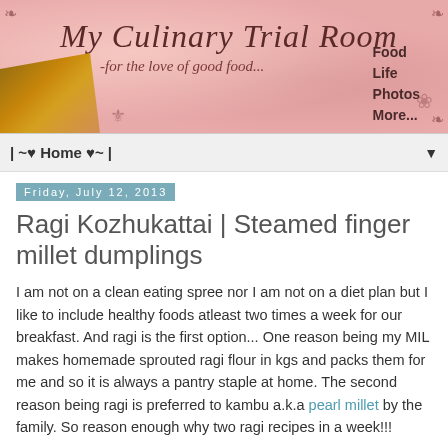[Figure (illustration): Blog header banner for 'My Culinary Trial Room' with pink textured background, cursive title, subtitle 'for the love of good food...', text 'Food Life Photos More...' on the right, and small food photos on the left.]
| ~♥ Home ♥~ |
Friday, July 12, 2013
Ragi Kozhukattai | Steamed finger millet dumplings
I am not on a clean eating spree nor I am not on a diet plan but I like to include healthy foods atleast two times a week for our breakfast. And ragi is the first option... One reason being my MIL makes homemade sprouted ragi flour in kgs and packs them for me and so it is always a pantry staple at home. The second reason being ragi is preferred to kambu a.k.a pearl millet by the family. So reason enough why two ragi recipes in a week!!!